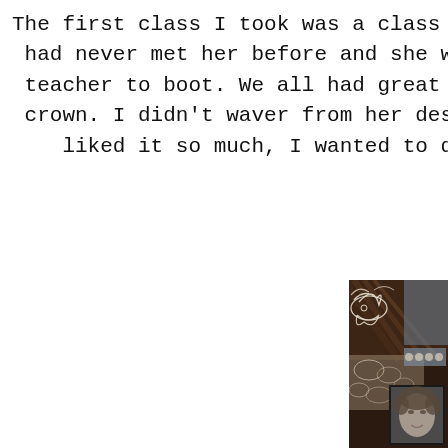The first class I took was a class ta had never met her before and she was teacher to boot. We all had great fu crown. I didn't waver from her desig liked it so much, I wanted to d
[Figure (photo): A decorative vintage-style mixed media frame with dark brown textured background featuring feathers and swirling white filigree ornament in the upper left corner. The frame contains lace doily elements and a vintage photograph of a woman with short curled hair in a classic early 20th century style, visible in the lower right portion of the image.]